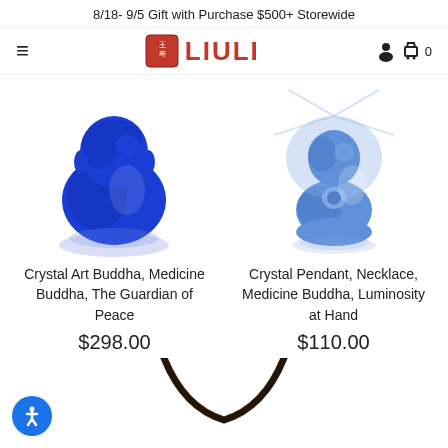8/18- 9/5 Gift with Purchase $500+ Storewide
[Figure (logo): LIULI brand logo with red seal stamp and red text]
[Figure (photo): Blue crystal art Buddha figurine - Crystal Art Buddha, Medicine Buddha, The Guardian of Peace]
Crystal Art Buddha, Medicine Buddha, The Guardian of Peace
$298.00
[Figure (photo): Light blue crystal pendant Buddha figurine - Crystal Pendant, Necklace, Medicine Buddha, Luminosity at Hand]
Crystal Pendant, Necklace, Medicine Buddha, Luminosity at Hand
$110.00
[Figure (photo): Bottom portion of a necklace with dark cord visible at the bottom of the page]